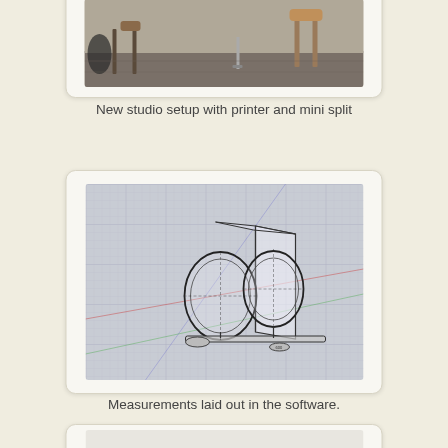[Figure (photo): New studio setup with printer and mini split — photograph showing stools and equipment on a concrete floor, partially cropped at top]
New studio setup with printer and mini split
[Figure (engineering-diagram): 3D CAD/software model showing measurements of a two-ring bicycle rack or speaker stand structure laid out in design software with perspective grid lines]
Measurements laid out in the software.
[Figure (illustration): Pencil sketch or line drawing of a vehicle or cart shape, partially cropped at bottom of page]